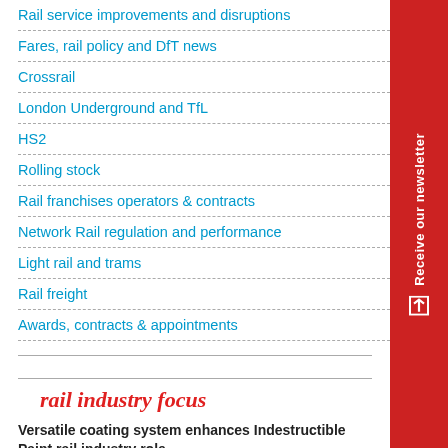Rail service improvements and disruptions
Fares, rail policy and DfT news
Crossrail
London Underground and TfL
HS2
Rolling stock
Rail franchises operators & contracts
Network Rail regulation and performance
Light rail and trams
Rail freight
Awards, contracts & appointments
rail industry focus
Versatile coating system enhances Indestructible Paint rail industry role
A highlysatile and robust epoxy coating system has now been introduced by specialist manufacturer, Indestructible Paint Ltd, with particular benefits for the